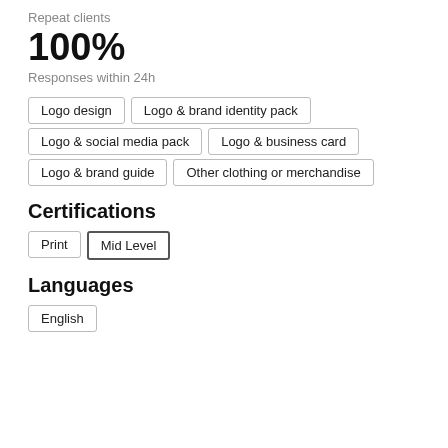Repeat clients
100%
Responses within 24h
Logo design
Logo & brand identity pack
Logo & social media pack
Logo & business card
Logo & brand guide
Other clothing or merchandise
Certifications
Print
Mid Level
Languages
English